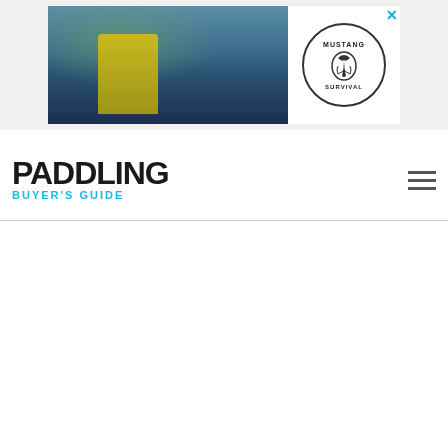[Figure (photo): Advertisement banner showing two kayakers on water with Mustang Survival logo on white background, with a close/X button in the top right corner]
PADDLING BUYER'S GUIDE